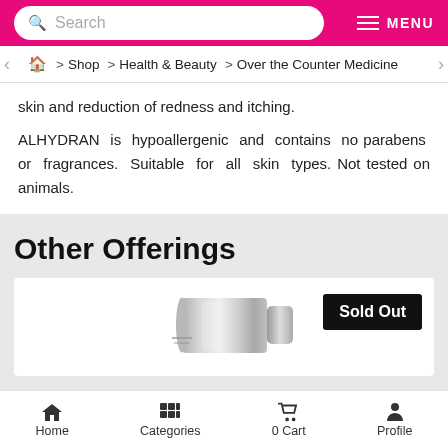Search | MENU
Home > Shop > Health & Beauty > Over the Counter Medicine
skin and reduction of redness and itching.

ALHYDRAN is hypoallergenic and contains no parabens or fragrances. Suitable for all skin types. Not tested on animals.
Other Offerings
[Figure (photo): Silver/metallic cream or lotion tube product with a 'Sold Out' badge]
Home | Categories | 0 Cart | Profile